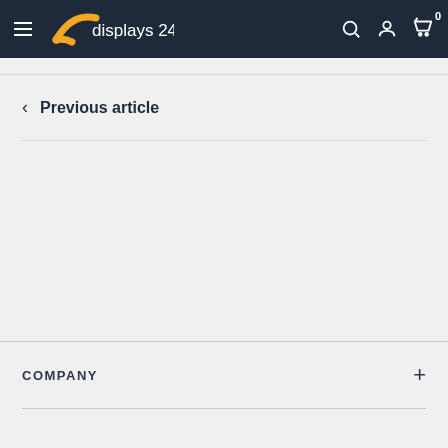[Figure (logo): Displays 24/7 logo with orange arc shape and white text on dark navy navigation bar, with hamburger menu on left and search, account, cart icons on right]
< Previous article
COMPANY +